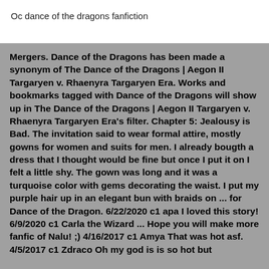Oc dance of the dragons fanfiction
Mergers. Dance of the Dragons has been made a synonym of The Dance of the Dragons | Aegon II Targaryen v. Rhaenyra Targaryen Era. Works and bookmarks tagged with Dance of the Dragons will show up in The Dance of the Dragons | Aegon II Targaryen v. Rhaenyra Targaryen Era's filter. Chapter 5: Jealousy is Bad. The invitation said to wear formal attire, mostly gowns for women and suits for men. I already bougth a dress that I thought would be fine but once I put it on I felt a little shy. The gown was long and it was a turquoise color with gems decorating the waist. I put my purple hair up in an elegant bun with braids on ... for Dance of the Dragon. 6/22/2020 c1 apa I loved this story! 6/9/2020 c1 Carla the Wizard ... Hope you will make more fanfic of Nalu! ;) 4/16/2017 c1 Amya That was hot asf. 4/5/2017 c1 Zdraco Oh my god is is so hot but